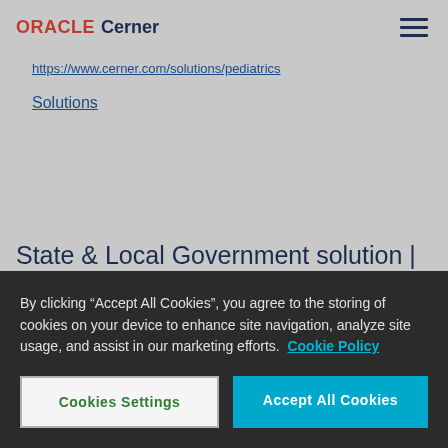ORACLE Cerner
https://www.cerner.com/solutions/pediatrics
Solutions
State & Local Government solution | Cerner
Cerner is committed to driving innovation which will actively shape the future of heath care delivered in
By clicking “Accept All Cookies”, you agree to the storing of cookies on your device to enhance site navigation, analyze site usage, and assist in our marketing efforts. Cookie Policy
Cookies Settings
Accept All Cookies